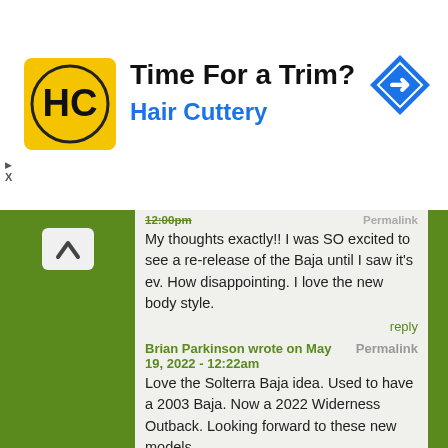[Figure (infographic): Hair Cuttery advertisement banner with logo, headline 'Time For a Trim?' and brand name 'Hair Cuttery', plus a navigation/directions icon on the right.]
12:00pm
Permalink
My thoughts exactly!! I was SO excited to see a re-release of the Baja until I saw it's ev. How disappointing. I love the new body style.
reply
Brian Parkinson wrote on May 19, 2022 - 12:22am
Permalink
Love the Solterra Baja idea. Used to have a 2003 Baja. Now a 2022 Widerness Outback. Looking forward to these new models.
reply